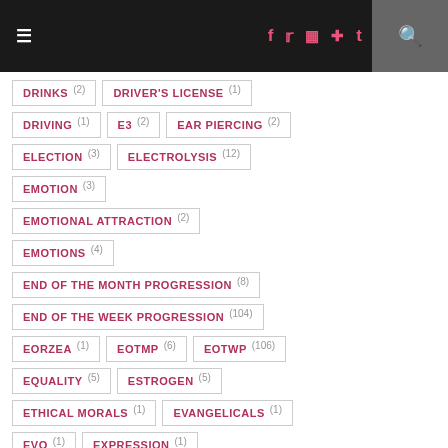Navigation bar with hamburger menu, social icons (f, twitter, instagram, pinterest, tumblr), and search
DRINKS (2)
DRIVER'S LICENSE (1)
DRIVING (1)
E3 (2)
EAR PIERCING (2)
ELECTION (3)
ELECTROLYSIS (12)
EMOTION (3)
EMOTIONAL ATTRACTION (2)
EMOTIONS (4)
END OF THE MONTH PROGRESSION (8)
END OF THE WEEK PROGRESSION (104)
EORZEA (1)
EOTMP (6)
EOTWP (106)
EQUALITY (5)
ESTROGEN (5)
ETHICAL MORALS (1)
EVANGELICALS (1)
EVO (1)
EXPRESSION (1)